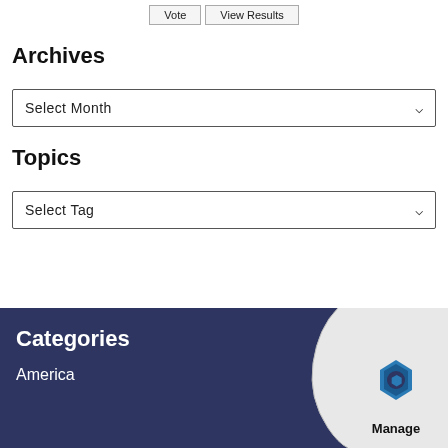Vote | View Results
Archives
Select Month
Topics
Select Tag
Categories
America
[Figure (logo): Manage logo with hexagon icon on page-curl/folded corner graphic over dark blue footer]